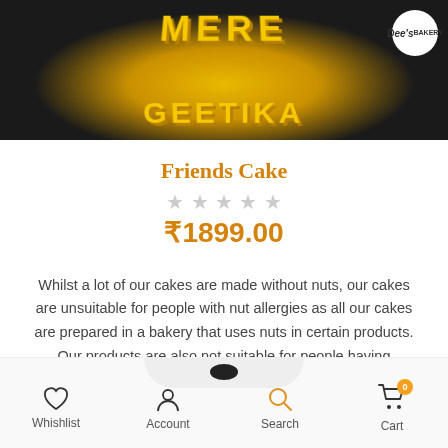[Figure (photo): Close-up photo of a black and yellow fondant cake with text 'MERE GEETIKA' in yellow letters. A circular white logo with 'Dee's' is visible in the top right corner.]
Friends Cake
★★★★★
₹1899.00
Whilst a lot of our cakes are made without nuts, our cakes are unsuitable for people with nut allergies as all our cakes are prepared in a bakery that uses nuts in certain products. Our products are also not suitable for people having allergies from milk, wheat and soy.
BUY NOW >
Whishlist   Account   Search   Cart